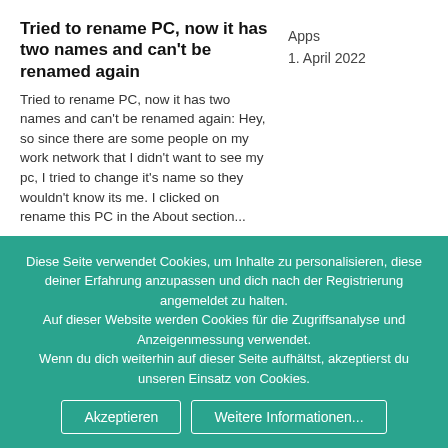Tried to rename PC, now it has two names and can't be renamed again
Tried to rename PC, now it has two names and can't be renamed again: Hey, so since there are some people on my work network that I didn't want to see my pc, I tried to change it's name so they wouldn't know its me. I clicked on rename this PC in the About section...
Apps
1. April 2022
Tried to rename PC, now it has two names and can't be renamed again
Tried to rename PC, now it has two
Diese Seite verwendet Cookies, um Inhalte zu personalisieren, diese deiner Erfahrung anzupassen und dich nach der Registrierung angemeldet zu halten. Auf dieser Website werden Cookies für die Zugriffsanalyse und Anzeigenmessung verwendet. Wenn du dich weiterhin auf dieser Seite aufhältst, akzeptierst du unseren Einsatz von Cookies.
Akzeptieren
Weitere Informationen...